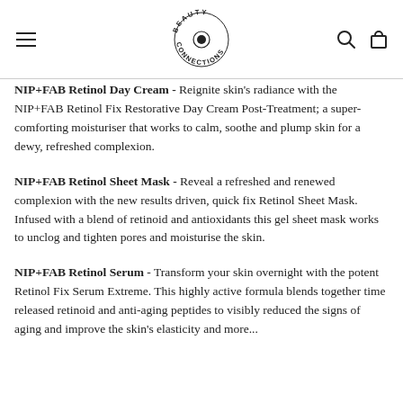Beauty Connections logo with hamburger menu, search and cart icons
NIP+FAB Retinol Day Cream - Reignite skin's radiance with the NIP+FAB Retinol Fix Restorative Day Cream Post-Treatment; a super-comforting moisturiser that works to calm, soothe and plump skin for a dewy, refreshed complexion.
NIP+FAB Retinol Sheet Mask - Reveal a refreshed and renewed complexion with the new results driven, quick fix Retinol Sheet Mask. Infused with a blend of retinoid and antioxidants this gel sheet mask works to unclog and tighten pores and moisturise the skin.
NIP+FAB Retinol Serum - Transform your skin overnight with the potent Retinol Fix Serum Extreme. This highly active formula blends together time released retinoid and anti-aging peptides to visibly reduced the signs of aging and improve the skin's elasticity and more...